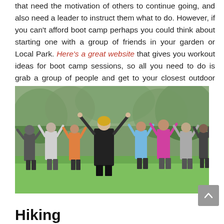that need the motivation of others to continue going, and also need a leader to instruct them what to do. However, if you can't afford boot camp perhaps you could think about starting one with a group of friends in your garden or Local Park. Here's a great website that gives you workout ideas for boot camp sessions, so all you need to do is grab a group of people and get to your closest outdoor space.
[Figure (photo): A group fitness class held outdoors on a green lawn. A female instructor with blonde hair stands with her back to the camera, arms raised above her head in a V shape. Several participants are visible behind her, mirroring the pose in a park setting with trees in the background.]
Hiking